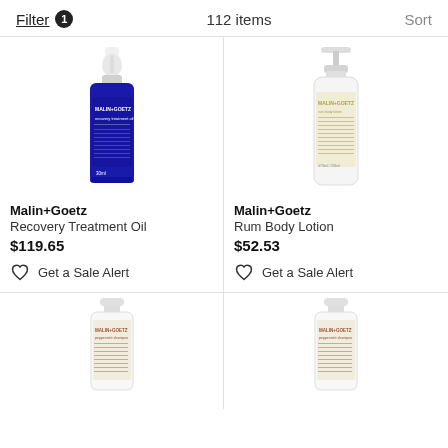Filter 1   112 items   Sort
[Figure (photo): Malin+Goetz Recovery Treatment Oil, small dark blue dropper bottle]
Malin+Goetz
Recovery Treatment Oil
$119.65
Get a Sale Alert
[Figure (photo): Malin+Goetz Rum Body Lotion, white pump bottle]
Malin+Goetz
Rum Body Lotion
$52.53
Get a Sale Alert
[Figure (photo): Malin+Goetz Peppermint Shampoo, white bottle with beige label]
[Figure (photo): Malin+Goetz Peppermint Shampoo, white bottle with beige label (duplicate)]